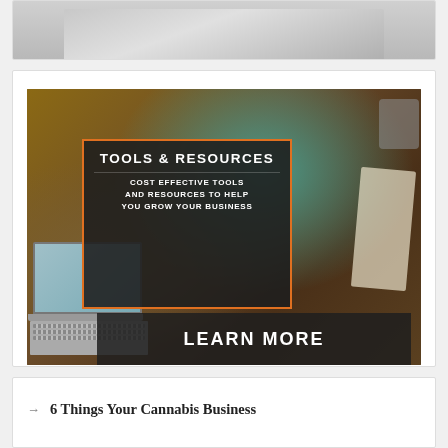[Figure (photo): Partial view of a laptop/desk top image, cropped at top of page]
[Figure (infographic): Banner image showing a laptop on a wooden desk with an overlay box reading 'TOOLS & RESOURCES — COST EFFECTIVE TOOLS AND RESOURCES TO HELP YOU GROW YOUR BUSINESS' with an orange border, and a 'LEARN MORE' button below]
6 Things Your Cannabis Business